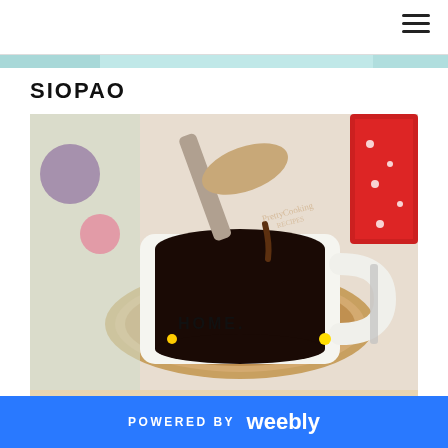Navigation bar with hamburger menu icon
SIOPAO
[Figure (photo): A white ceramic mug labeled HOME. sitting on a cork coaster. A spoon is pouring dark brown sauce (arnibal/liquid filling) into the mug. Floral and colorful background. A second partial image below shows a blurred bowl.]
POWERED BY weebly